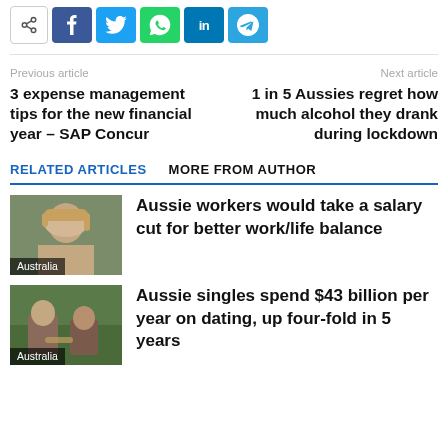[Figure (infographic): Social sharing buttons: share icon, Facebook, Twitter, WhatsApp, LinkedIn, Telegram]
Previous article
3 expense management tips for the new financial year – SAP Concur
Next article
1 in 5 Aussies regret how much alcohol they drank during lockdown
RELATED ARTICLES   MORE FROM AUTHOR
[Figure (photo): Photo of a young woman with long blonde hair, outdoors. Label: Australia]
Aussie workers would take a salary cut for better work/life balance
[Figure (photo): Photo of a couple sitting together at a restaurant, outdoors. Label: Australia]
Aussie singles spend $43 billion per year on dating, up four-fold in 5 years